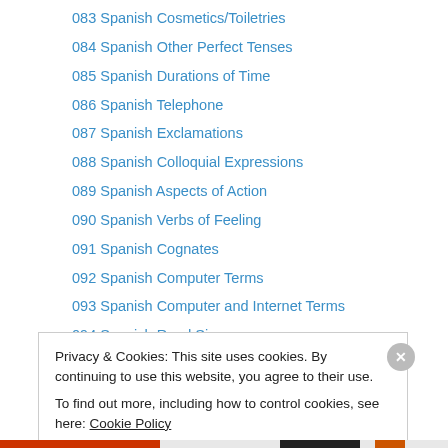083 Spanish Cosmetics/Toiletries
084 Spanish Other Perfect Tenses
085 Spanish Durations of Time
086 Spanish Telephone
087 Spanish Exclamations
088 Spanish Colloquial Expressions
089 Spanish Aspects of Action
090 Spanish Verbs of Feeling
091 Spanish Cognates
092 Spanish Computer Terms
093 Spanish Computer and Internet Terms
094 Spanish Road Signs
095 Spanish Basketball
Privacy & Cookies: This site uses cookies. By continuing to use this website, you agree to their use.
To find out more, including how to control cookies, see here: Cookie Policy